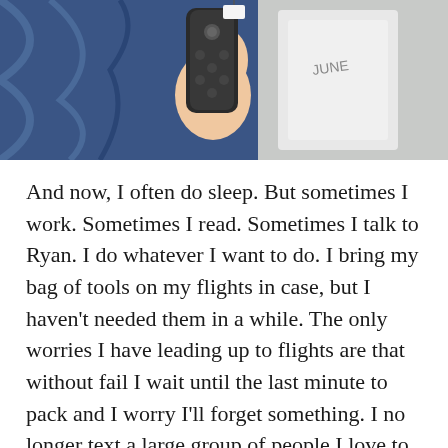[Figure (photo): A hand holding a TV remote control, with a blue fabric bag on the left and a white item with 'JUNE' text visible on the right]
And now, I often do sleep. But sometimes I work. Sometimes I read. Sometimes I talk to Ryan. I do whatever I want to do. I bring my bag of tools on my flights in case, but I haven't needed them in a while. The only worries I have leading up to flights are that without fail I wait until the last minute to pack and I worry I'll forget something. I no longer text a large group of people I love to tell them that I love them before I take off